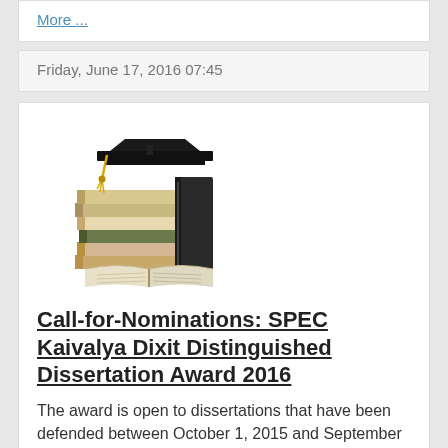More ...
Friday, June 17, 2016 07:45
[Figure (illustration): Stack of books with a graduation cap on top and an open book in front]
Call-for-Nominations: SPEC Kaivalya Dixit Distinguished Dissertation Award 2016
The award is open to dissertations that have been defended between October 1, 2015 and September 30, 2016. The submission deadline is September 30, 2016.
More ...